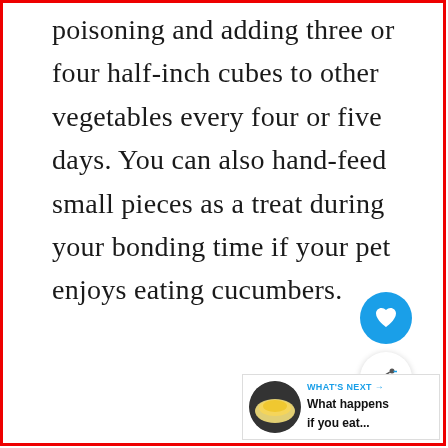poisoning and adding three or four half-inch cubes to other vegetables every four or five days. You can also hand-feed small pieces as a treat during your bonding time if your pet enjoys eating cucumbers.
[Figure (other): Heart (like/favorite) button — circular blue button with white heart icon, and a share button below it (white circular button with share icon)]
[Figure (other): What's Next widget: circular thumbnail image of food, label 'WHAT'S NEXT →', text 'What happens if you eat...']